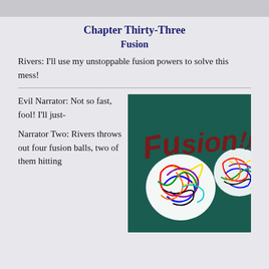Chapter Thirty-Three
Fusion
Rivers: I'll use my unstoppable fusion powers to solve this mess!
Evil Narrator: Not so fast, fool! I'll just-
Narrator Two: Rivers throws out four fusion balls, two of them hitting
[Figure (illustration): Hand-drawn illustration on dark teal background showing the word 'Fusion!!!' written in dark red/maroon script, with two glowing orbs filled with colorful tangled lines in multiple colors (yellow, blue, red, green, purple, black).]